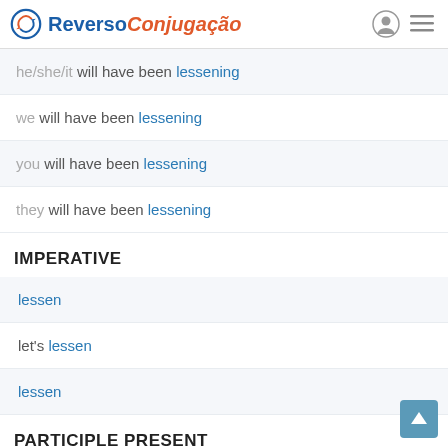Reverso Conjugação
he/she/it will have been lessening
we will have been lessening
you will have been lessening
they will have been lessening
IMPERATIVE
lessen
let's lessen
lessen
PARTICIPLE PRESENT